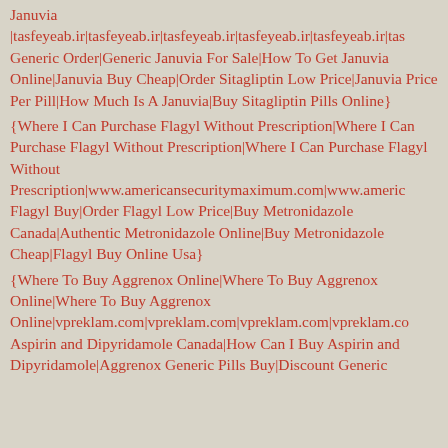Januvia |tasfeyeab.ir|tasfeyeab.ir|tasfeyeab.ir|tasfeyeab.ir|tasfeyeab.ir|tas Generic Order|Generic Januvia For Sale|How To Get Januvia Online|Januvia Buy Cheap|Order Sitagliptin Low Price|Januvia Price Per Pill|How Much Is A Januvia|Buy Sitagliptin Pills Online}
{Where I Can Purchase Flagyl Without Prescription|Where I Can Purchase Flagyl Without Prescription|Where I Can Purchase Flagyl Without Prescription|www.americansecuritymaximum.com|www.americ Flagyl Buy|Order Flagyl Low Price|Buy Metronidazole Canada|Authentic Metronidazole Online|Buy Metronidazole Cheap|Flagyl Buy Online Usa}
{Where To Buy Aggrenox Online|Where To Buy Aggrenox Online|Where To Buy Aggrenox Online|vpreklam.com|vpreklam.com|vpreklam.com|vpreklam.co Aspirin and Dipyridamole Canada|How Can I Buy Aspirin and Dipyridamole|Aggrenox Generic Pills Buy|Discount Generic